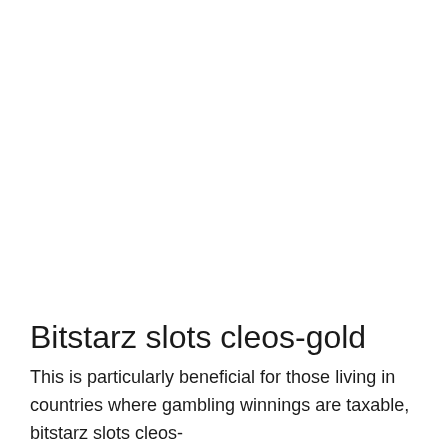Bitstarz slots cleos-gold
This is particularly beneficial for those living in countries where gambling winnings are taxable, bitstarz slots cleos-